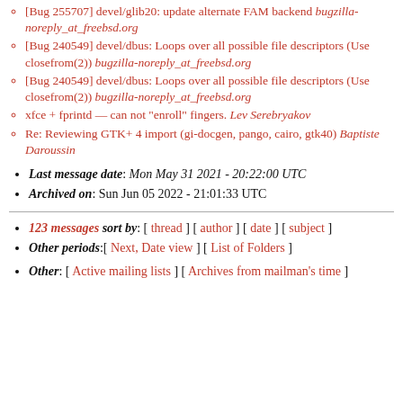[Bug 255707] devel/glib20: update alternate FAM backend bugzilla-noreply_at_freebsd.org
[Bug 240549] devel/dbus: Loops over all possible file descriptors (Use closefrom(2)) bugzilla-noreply_at_freebsd.org
[Bug 240549] devel/dbus: Loops over all possible file descriptors (Use closefrom(2)) bugzilla-noreply_at_freebsd.org
xfce + fprintd — can not "enroll" fingers. Lev Serebryakov
Re: Reviewing GTK+ 4 import (gi-docgen, pango, cairo, gtk40) Baptiste Daroussin
Last message date: Mon May 31 2021 - 20:22:00 UTC
Archived on: Sun Jun 05 2022 - 21:01:33 UTC
123 messages sort by: [ thread ] [ author ] [ date ] [ subject ]
Other periods:[ Next, Date view ] [ List of Folders ]
Other: [ Active mailing lists ] [ Archives from mailman's time ]